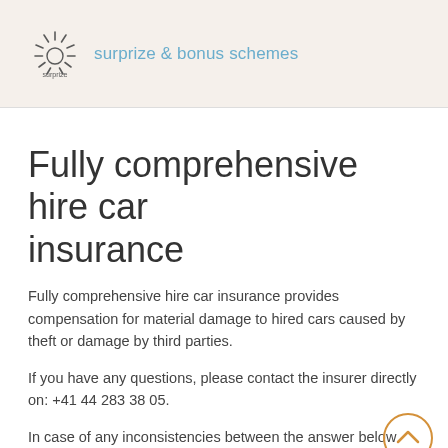[Figure (logo): Surprize logo — sunburst/starburst icon with text 'surprize' below, followed by 'surprize & bonus schemes' in blue]
Fully comprehensive hire car insurance
Fully comprehensive hire car insurance provides compensation for material damage to hired cars caused by theft or damage by third parties.
If you have any questions, please contact the insurer directly on: +41 44 283 38 05.
In case of any inconsistencies between the answer below